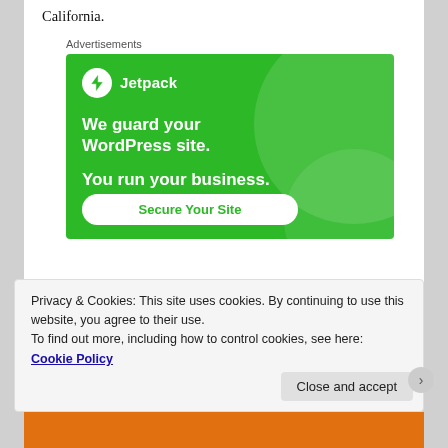And the road trip ends at my parent's house in Pacoima, California.
Advertisements
[Figure (screenshot): Jetpack advertisement banner with green background. Shows Jetpack logo (lightning bolt in circle) and text: 'We guard your WordPress site. You run your business.' with a 'Secure Your Site' button.]
Privacy & Cookies: This site uses cookies. By continuing to use this website, you agree to their use.
To find out more, including how to control cookies, see here: Cookie Policy
Close and accept